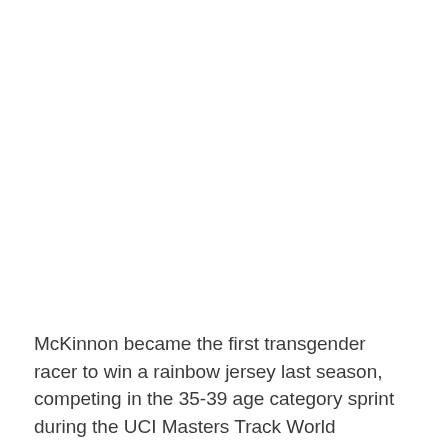McKinnon became the first transgender racer to win a rainbow jersey last season, competing in the 35-39 age category sprint during the UCI Masters Track World